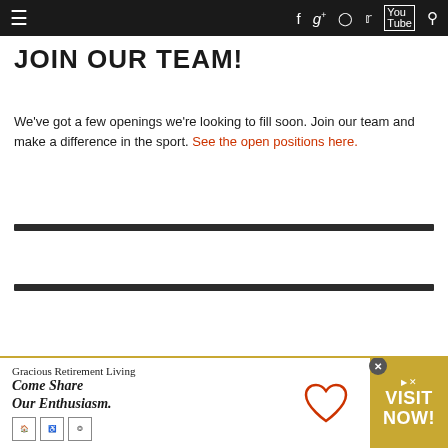Navigation bar with menu and social icons
JOIN OUR TEAM!
We've got a few openings we're looking to fill soon. Join our team and make a difference in the sport. See the open positions here.
[Figure (other): Horizontal dark divider bar]
[Figure (other): Horizontal dark divider bar]
[Figure (other): Advertisement banner: Gracious Retirement Living - Come Share Our Enthusiasm. VISIT NOW!]